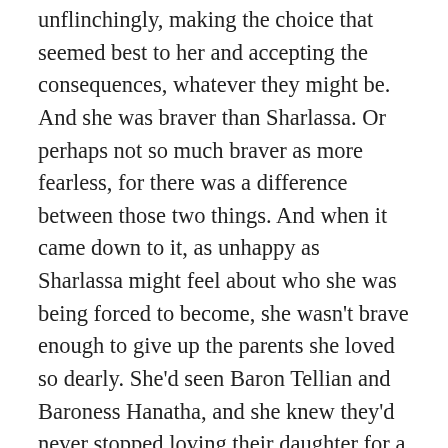unflinchingly, making the choice that seemed best to her and accepting the consequences, whatever they might be. And she was braver than Sharlassa. Or perhaps not so much braver as more fearless, for there was a difference between those two things. And when it came down to it, as unhappy as Sharlassa might feel about who she was being forced to become, she wasn't brave enough to give up the parents she loved so dearly. She'd seen Baron Tellian and Baroness Hanatha, and she knew they'd never stopped loving their daughter for a moment. She was confident Lord Jahsak and Lady Sharmatha would never have stopped loving her, even if she'd done something as outrageous as to run away to the war maids. But she also knew how deeply that separation would pain them — and her — and